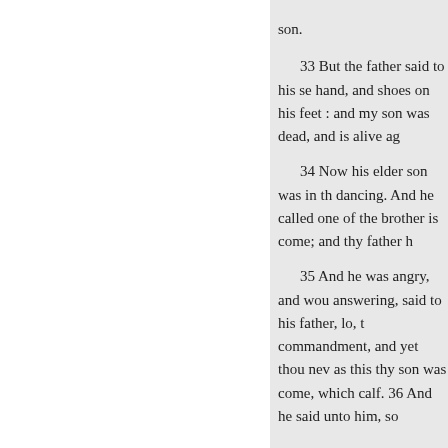son.
33 But the father said to his se hand, and shoes on his feet : and my son was dead, and is alive ag
34 Now his elder son was in th dancing. And he called one of the brother is come; and thy father h
35 And he was angry, and wou answering, said to his father, lo, t commandment, and yet thou nev as this thy son was come, which calf. 36 And he said unto him, so
all that I have is thine. It was me and is alive again ; and was lost,
37 Take heed to yourselves : if him.
38 And he spake this parable u despised others : two men went t